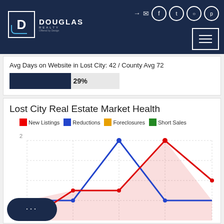[Figure (logo): Douglas Realty logo with white D in box, white text DOUGLAS REALTY on dark navy header bar]
Avg Days on Website in Lost City: 42 / County Avg 72
[Figure (infographic): Progress bar showing 29% fill on dark navy background]
Lost City Real Estate Market Health
[Figure (line-chart): Lost City Real Estate Market Health]